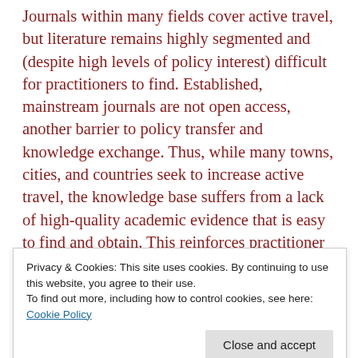Journals within many fields cover active travel, but literature remains highly segmented and (despite high levels of policy interest) difficult for practitioners to find. Established, mainstream journals are not open access, another barrier to policy transfer and knowledge exchange. Thus, while many towns, cities, and countries seek to increase active travel, the knowledge base suffers from a lack of high-quality academic evidence that is easy to find and obtain. This reinforces practitioner reliance on often lower-quality grey literature, and a culture of relying on ad hoc case studies in policy and practice. This journal provides a bridge between academia and practice, based on high academic standards and accessibility to
Privacy & Cookies: This site uses cookies. By continuing to use this website, you agree to their use. To find out more, including how to control cookies, see here: Cookie Policy
this normative orientation, it is rigorously academic and